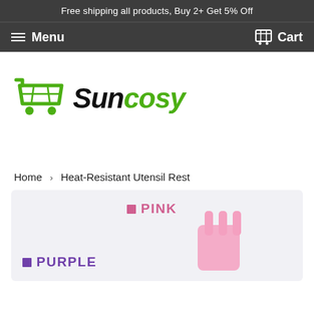Free shipping all products, Buy 2+ Get 5% Off
Menu  Cart
[Figure (logo): Suncosy shopping cart logo with green cart icon and 'Sun' in black bold italic, 'cosy' in green italic]
Home › Heat-Resistant Utensil Rest
[Figure (photo): Product image showing heat-resistant utensil rest in pink and purple colors on light gray background, with color labels PINK and PURPLE]